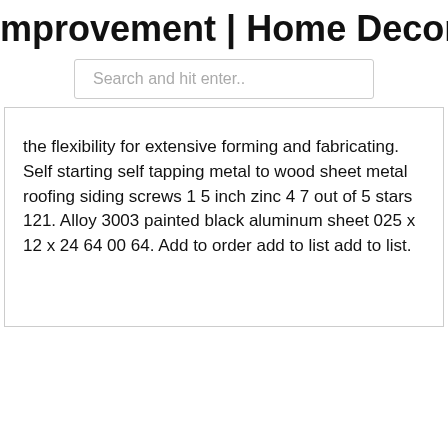mprovement | Home Decorations and
Search and hit enter..
the flexibility for extensive forming and fabricating. Self starting self tapping metal to wood sheet metal roofing siding screws 1 5 inch zinc 4 7 out of 5 stars 121. Alloy 3003 painted black aluminum sheet 025 x 12 x 24 64 00 64. Add to order add to list add to list.